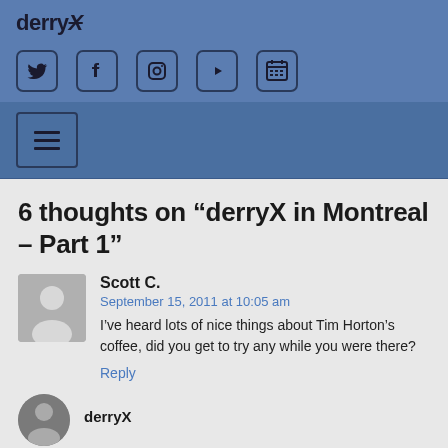derryX
[Figure (infographic): Social media icons row: Twitter, Facebook, Instagram, YouTube, Calendar]
[Figure (infographic): Hamburger navigation menu button]
6 thoughts on “derryX in Montreal – Part 1”
Scott C.
September 15, 2011 at 10:05 am
I’ve heard lots of nice things about Tim Horton’s coffee, did you get to try any while you were there?
Reply
derryX